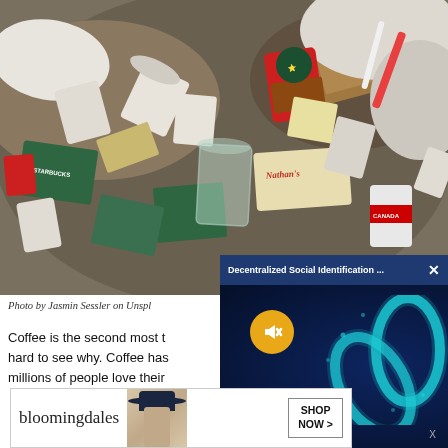[Figure (photo): Pile of discarded cups and food packaging including Starbucks cups, Nathan's food container, clear plastic cups, and other trash]
Photo by Jasmin Sessler on Unspl...
Coffee is the second most t... hard to see why. Coffee has... millions of people love their...
[Figure (screenshot): Ad overlay showing 'Decentralized Social Identification ...' with blockchain/chain link imagery and a mute button on dark blue background]
[Figure (screenshot): Bloomingdales advertisement showing logo, model in hat, and SHOP NOW button]